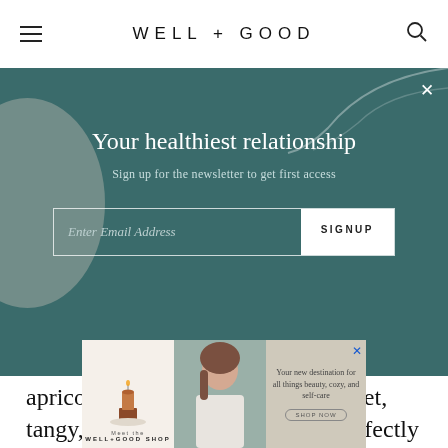WELL+GOOD
[Figure (screenshot): Newsletter signup overlay on teal background with title 'Your healthiest relationship', subtitle 'Sign up for the newsletter to get first access', email input field and SIGNUP button]
apricots, or plums. The sauce’s sweet, tangy, tart, and spicy taste pairs perfectly with the acidity and saltiness of the Tajín; together, they’re the ideal umami-rich pair. You might also find esquites or
[Figure (screenshot): Well+Good Shop advertisement banner with candle photo, woman photo, and text 'Your new destination for all things beauty, cozy, and self-care']